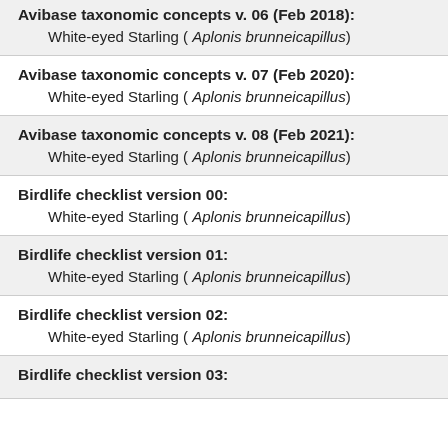Avibase taxonomic concepts v. 06 (Feb 2018): White-eyed Starling ( Aplonis brunneicapillus)
Avibase taxonomic concepts v. 07 (Feb 2020): White-eyed Starling ( Aplonis brunneicapillus)
Avibase taxonomic concepts v. 08 (Feb 2021): White-eyed Starling ( Aplonis brunneicapillus)
Birdlife checklist version 00: White-eyed Starling ( Aplonis brunneicapillus)
Birdlife checklist version 01: White-eyed Starling ( Aplonis brunneicapillus)
Birdlife checklist version 02: White-eyed Starling ( Aplonis brunneicapillus)
Birdlife checklist version 03: